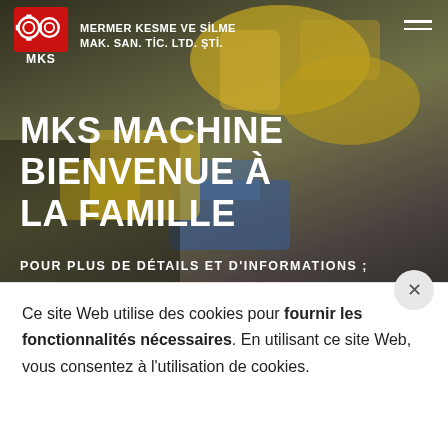[Figure (screenshot): Hero background showing industrial machinery (yellow and blue mechanical components) with dark overlay]
MERMER KESME ve SİLME MAK. SAN. TİC. LTD. ŞTİ.
MKS MACHINE BIENVENUE À LA FAMILLE
POUR PLUS DE DÉTAILS ET D'INFORMATIONS ;
Ce site Web utilise des cookies pour fournir les fonctionnalités nécessaires. En utilisant ce site Web, vous consentez à l'utilisation de cookies.